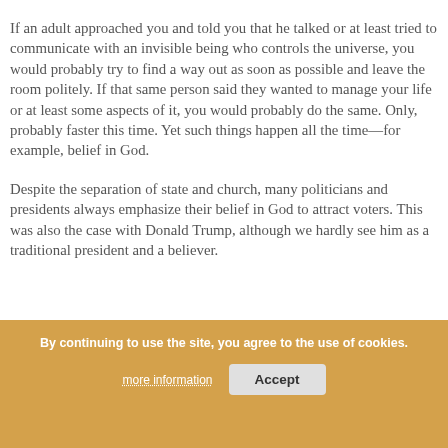If an adult approached you and told you that he talked or at least tried to communicate with an invisible being who controls the universe, you would probably try to find a way out as soon as possible and leave the room politely. If that same person said they wanted to manage your life or at least some aspects of it, you would probably do the same. Only, probably faster this time. Yet such things happen all the time—for example, belief in God.
Despite the separation of state and church, many politicians and presidents always emphasize their belief in God to attract voters. This was also the case with Donald Trump, although we hardly see him as a traditional president and a believer.
If You Talk to God, You Are Religious. If God Is Talking to You,
By continuing to use the site, you agree to the use of cookies. more information Accept